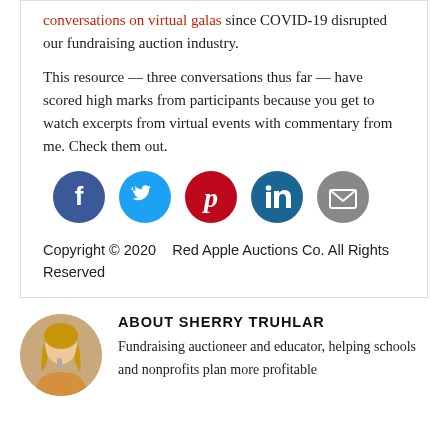conversations on virtual galas since COVID-19 disrupted our fundraising auction industry.
This resource — three conversations thus far — have scored high marks from participants because you get to watch excerpts from virtual events with commentary from me.  Check them out.
[Figure (infographic): Social media share icons: Facebook (blue circle with f), Twitter (cyan circle with bird), Pinterest (red circle with p), LinkedIn (dark blue circle with in), Email (gray circle with envelope)]
Copyright © 2020    Red Apple Auctions Co. All Rights Reserved
[Figure (photo): Circular portrait photo of Sherry Truhlar, a woman with blonde hair holding a microphone]
ABOUT SHERRY TRUHLAR
Fundraising auctioneer and educator, helping schools and nonprofits plan more profitable